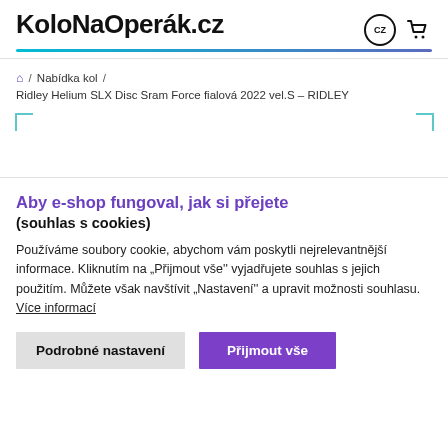KoloNaOperák.cz
🏠 / Nabídka kol / Ridley Helium SLX Disc Sram Force fialová 2022 vel.S – RIDLEY
[Figure (other): Image placeholder with teal corner brackets]
Aby e-shop fungoval, jak si přejete (souhlas s cookies)
Používáme soubory cookie, abychom vám poskytli nejrelevantnější informace. Kliknutím na „Přijmout vše'' vyjadřujete souhlas s jejich použitím. Můžete však navštívit „Nastavení'' a upravit možnosti souhlasu. Více informací
Podrobné nastavení | Přijmout vše